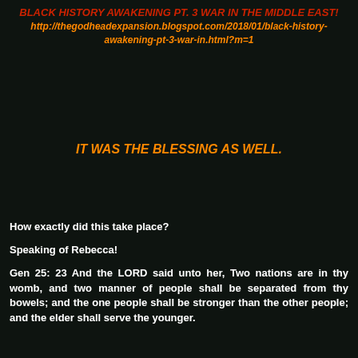BLACK HISTORY AWAKENING PT. 3 WAR IN THE MIDDLE EAST! http://thegodheadexpansion.blogspot.com/2018/01/black-history-awakening-pt-3-war-in.html?m=1
IT WAS THE BLESSING AS WELL.
How exactly did this take place?
Speaking of Rebecca!
Gen 25: 23 And the LORD said unto her, Two nations are in thy womb, and two manner of people shall be separated from thy bowels; and the one people shall be stronger than the other people; and the elder shall serve the younger.